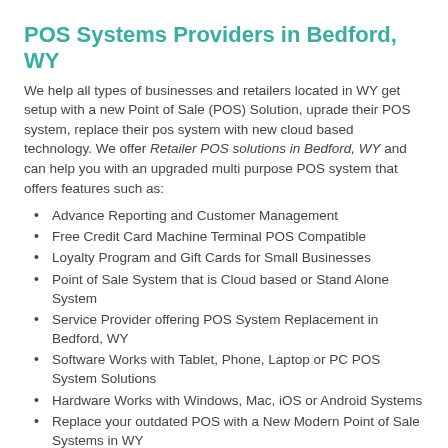POS Systems Providers in Bedford, WY
We help all types of businesses and retailers located in WY get setup with a new Point of Sale (POS) Solution, uprade their POS system, replace their pos system with new cloud based technology. We offer Retailer POS solutions in Bedford, WY and can help you with an upgraded multi purpose POS system that offers features such as:
Advance Reporting and Customer Management
Free Credit Card Machine Terminal POS Compatible
Loyalty Program and Gift Cards for Small Businesses
Point of Sale System that is Cloud based or Stand Alone System
Service Provider offering POS System Replacement in Bedford, WY
Software Works with Tablet, Phone, Laptop or PC POS System Solutions
Hardware Works with Windows, Mac, iOS or Android Systems
Replace your outdated POS with a New Modern Point of Sale Systems in WY